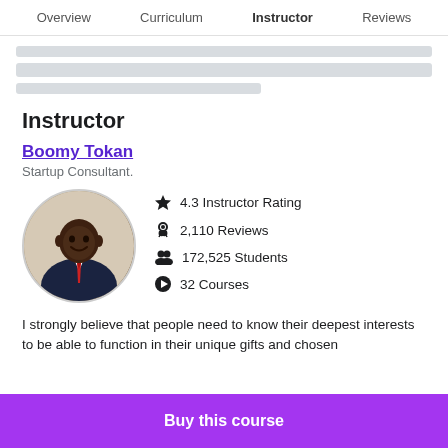Overview  Curriculum  Instructor  Reviews
[Figure (other): Skeleton/loading placeholder lines]
Instructor
Boomy Tokan
Startup Consultant.
[Figure (photo): Circular profile photo of Boomy Tokan, a man in a dark suit with a red tie, smiling]
4.3 Instructor Rating
2,110 Reviews
172,525 Students
32 Courses
I strongly believe that people need to know their deepest interests to be able to function in their unique gifts and chosen
Buy this course